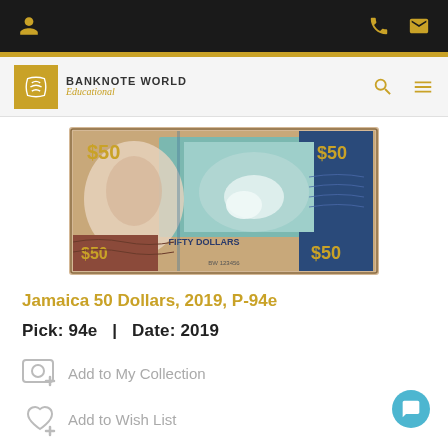Banknote World Educational - navigation header with user, phone, mail icons and search, menu icons
[Figure (photo): Jamaica 50 Dollars banknote showing the reverse side with $50 denomination markings and scenic imagery]
Jamaica 50 Dollars, 2019, P-94e
Pick: 94e  |  Date: 2019
Add to My Collection
Add to Wish List